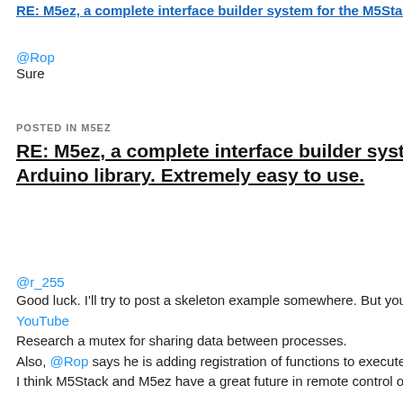RE: M5ez, a complete interface builder system for the M5Stack as an Arduino library. Extremely easy to use. (truncated top link)
@Rop
Sure
POSTED IN M5EZ
RE: M5ez, a complete interface builder system for the M5Stack as an Arduino library. Extremely easy to use.
@r_255
Good luck. I'll try to post a skeleton example somewhere. But you might start here:
YouTube
Research a mutex for sharing data between processes.
Also, @Rop says he is adding registration of functions to execute from his idle loop.
I think M5Stack and M5ez have a great future in remote control of all sorts of